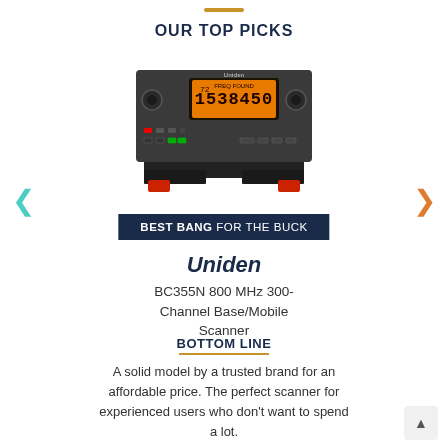OUR TOP PICKS
[Figure (photo): A Uniden BC355N 800 MHz 300-Channel Base/Mobile Scanner radio device shown from the front, mounted on a black bracket with red feet, displaying frequency numbers on an orange backlit LCD screen.]
BEST BANG FOR THE BUCK
Uniden
BC355N 800 MHz 300-Channel Base/Mobile Scanner
BOTTOM LINE
A solid model by a trusted brand for an affordable price. The perfect scanner for experienced users who don't want to spend a lot.